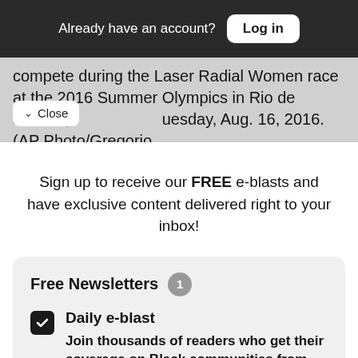Already have an account?  Log in
compete during the Laser Radial Women race at the 2016 Summer Olympics in Rio de Janeiro, Tuesday, Aug. 16, 2016. (AP Photo/Gregorio
Sign up to receive our FREE e-blasts and have exclusive content delivered right to your inbox!
Free Newsletters  1
Daily e-blast — Join thousands of readers who get their coverage on Black communities from the media company who has been doing it